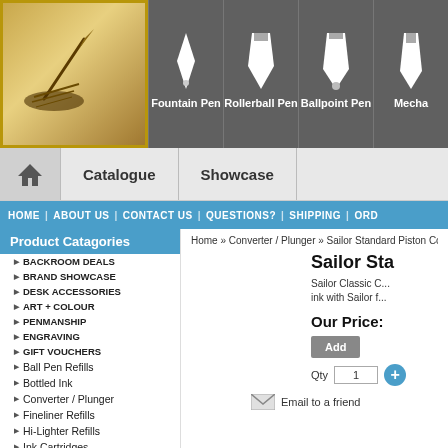Fountain Pen | Rollerball Pen | Ballpoint Pen | Mecha
Catalogue | Showcase
HOME | ABOUT US | CONTACT US | QUESTIONS? | SHIPPING | ORD
Home » Converter / Plunger » Sailor Standard Piston Converter
Product Catagories
BACKROOM DEALS
BRAND SHOWCASE
DESK ACCESSORIES
ART + COLOUR
PENMANSHIP
ENGRAVING
GIFT VOUCHERS
Ball Pen Refills
Bottled Ink
Converter / Plunger
Fineliner Refills
Hi-Lighter Refills
Ink Cartridges
Multi-Pen Refills
Pencil Erasers
Sailor Sta
Sailor Classic C... ink with Sailor f...
Our Price:
Add
Qty 1
Email to a friend